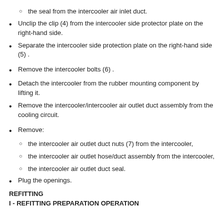the seal from the intercooler air inlet duct.
Unclip the clip (4) from the intercooler side protector plate on the right-hand side.
Separate the intercooler side protection plate on the right-hand side (5) .
Remove the intercooler bolts (6) .
Detach the intercooler from the rubber mounting component by lifting it.
Remove the intercooler/intercooler air outlet duct assembly from the cooling circuit.
Remove:
the intercooler air outlet duct nuts (7) from the intercooler,
the intercooler air outlet hose/duct assembly from the intercooler,
the intercooler air outlet duct seal.
Plug the openings.
REFITTING
I - REFITTING PREPARATION OPERATION